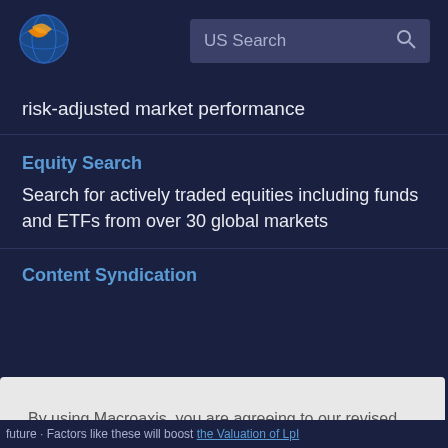[Figure (logo): Macroaxis globe logo — blue circle with orange crescent]
US Search
risk-adjusted market performance
Equity Search
Search for actively traded equities including funds and ETFs from over 30 global markets
Content Syndication
By using Macroaxis, you are agreeing to our revised Privacy Policy
OK